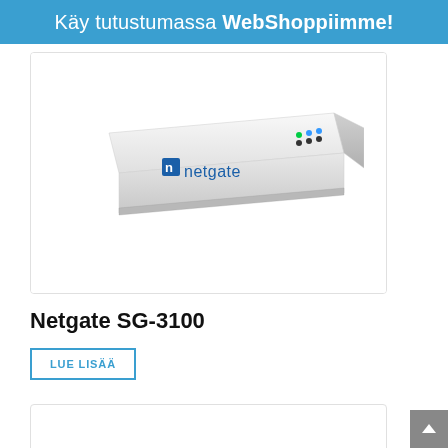Käy tutustumassa WebShoppiimme!
[Figure (photo): Photo of a white Netgate SG-3100 network appliance device with the Netgate logo visible on the front, shown at a slight angle on a white background.]
Netgate SG-3100
LUE LISÄÄ
[Figure (photo): Partial view of a second product card, white/empty area visible.]